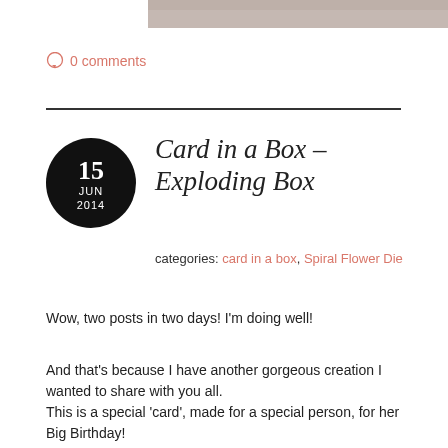[Figure (photo): Partial photo visible at the top of the page, showing a cropped image with brown/tan tones]
0 comments
Card in a Box – Exploding Box
categories: card in a box, Spiral Flower Die
Wow, two posts in two days! I'm doing well!
And that's because I have another gorgeous creation I wanted to share with you all.
This is a special 'card', made for a special person, for her Big Birthday!
This version is referred to as an 'Exploding Card'. They are